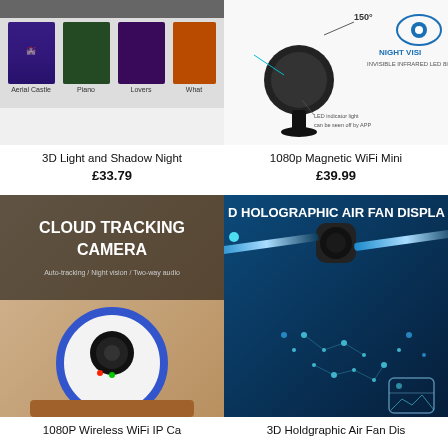[Figure (photo): 3D Light and Shadow Night lamp product images showing Aerial Castle, Piano, Lovers, Whal variants on dark background]
3D Light and Shadow Night
£33.79
[Figure (photo): 1080p Magnetic WiFi Mini camera product photo with Night Vision text and eye icon, 150 degree angle label]
1080p Magnetic WiFi Mini
£39.99
[Figure (photo): Cloud Tracking Camera product photo showing white dome camera with text: CLOUD TRACKING CAMERA, Auto-tracking / Night vision / Two-way audio]
1080P Wireless WiFi IP Ca
[Figure (photo): 3D Holographic Air Fan Display product photo on blue background with fan blade device and text: D HOLOGRAPHIC AIR FAN DISPLA]
3D Holdgraphic Air Fan Dis